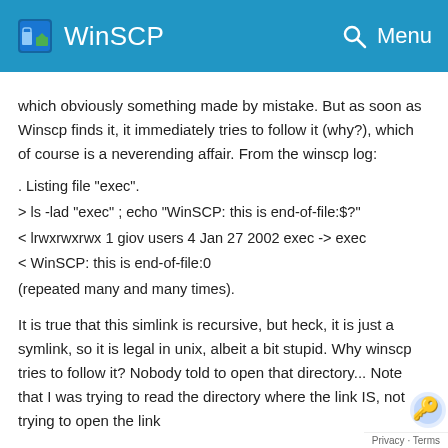WinSCP
which obviously something made by mistake. But as soon as Winscp finds it, it immediately tries to follow it (why?), which of course is a neverending affair. From the winscp log:
. Listing file "exec".
> ls -lad "exec" ; echo "WinSCP: this is end-of-file:$?"
< lrwxrwxrwx 1 giov users 4 Jan 27 2002 exec -> exec
< WinSCP: this is end-of-file:0
(repeated many and many times).
It is true that this simlink is recursive, but heck, it is just a symlink, so it is legal in unix, albeit a bit stupid. Why winscp tries to follow it? Nobody told to open that directory... Note that I was trying to read the directory where the link IS, not trying to open the link